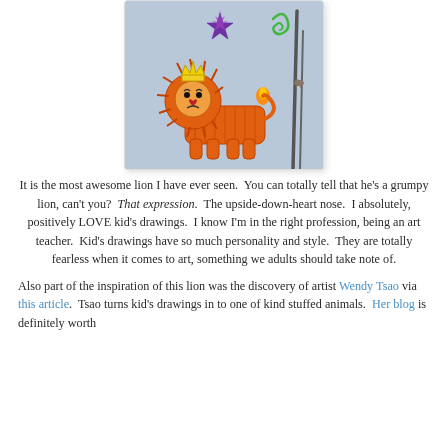[Figure (illustration): Child's crayon drawing of an orange lion wearing a yellow crown, with a purple star and green spiral in the upper area, and a dark tree trunk on the right. Light blue background.]
It is the most awesome lion I have ever seen. You can totally tell that he's a grumpy lion, can't you? That expression. The upside-down-heart nose. I absolutely, positively LOVE kid's drawings. I know I'm in the right profession, being an art teacher. Kid's drawings have so much personality and style. They are totally fearless when it comes to art, something we adults should take note of.
Also part of the inspiration of this lion was the discovery of artist Wendy Tsao via this article. Tsao turns kid's drawings in to one of kind stuffed animals. Her blog is definitely worth a look. So keep an eye out — but be positive list is in...